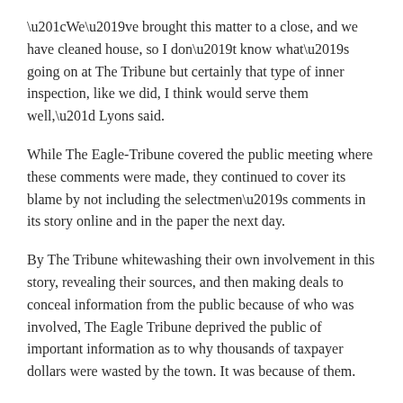“We’ve brought this matter to a close, and we have cleaned house, so I don’t know what’s going on at The Tribune but certainly that type of inner inspection, like we did, I think would serve them well,” Lyons said.
While The Eagle-Tribune covered the public meeting where these comments were made, they continued to cover its blame by not including the selectmen’s comments in its story online and in the paper the next day.
By The Tribune whitewashing their own involvement in this story, revealing their sources, and then making deals to conceal information from the public because of who was involved, The Eagle Tribune deprived the public of important information as to why thousands of taxpayer dollars were wasted by the town. It was because of them.
They have yet to make a statement about whether they agreed to the ban or will abide by it.
Deputy Chief Shawn Patten, Doug Ireland, Eagle Tribune, Eagle-